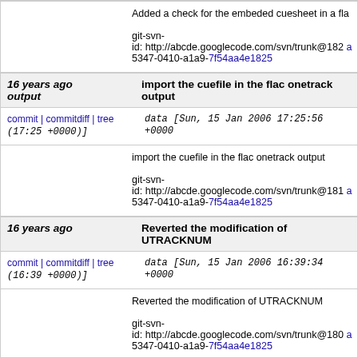Added a check for the embeded cuesheet in a flac
git-svn-id: http://abcde.googlecode.com/svn/trunk@182 a 5347-0410-a1a9-7f54aa4e1825
16 years ago output | import the cuefile in the flac onetrack output
commit | commitdiff | tree (17:25 +0000)] data [Sun, 15 Jan 2006 17:25:56 +0000
import the cuefile in the flac onetrack output
git-svn-id: http://abcde.googlecode.com/svn/trunk@181 a 5347-0410-a1a9-7f54aa4e1825
16 years ago | Reverted the modification of UTRACKNUM
commit | commitdiff | tree (16:39 +0000)] data [Sun, 15 Jan 2006 16:39:34 +0000
Reverted the modification of UTRACKNUM
git-svn-id: http://abcde.googlecode.com/svn/trunk@180 a 5347-0410-a1a9-7f54aa4e1825